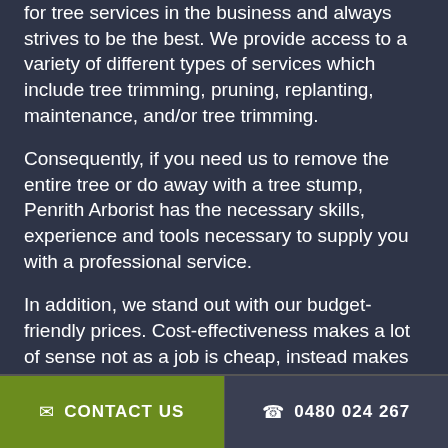for tree services in the business and always strives to be the best. We provide access to a variety of different types of services which include tree trimming, pruning, replanting, maintenance, and/or tree trimming.
Consequently, if you need us to remove the entire tree or do away with a tree stump, Penrith Arborist has the necessary skills, experience and tools necessary to supply you with a professional service.
In addition, we stand out with our budget-friendly prices. Cost-effectiveness makes a lot of sense not as a job is cheap, instead makes sure that the job is a combination of easy operations, safety, professionalism, timeliness, ecological consciousness and business ethics.
✉ CONTACT US   ☎ 0480 024 267